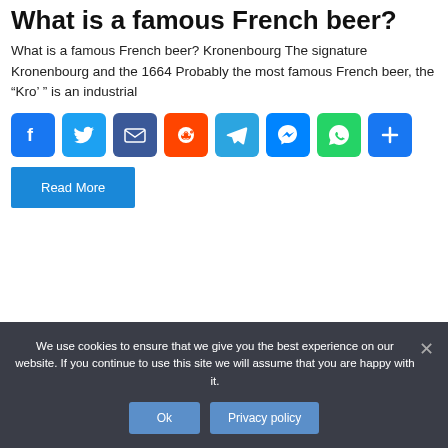What is a famous French beer?
What is a famous French beer? Kronenbourg The signature Kronenbourg and the 1664 Probably the most famous French beer, the “Kro’ ” is an industrial
[Figure (other): Row of social media share icon buttons: Facebook (blue), Twitter (light blue), Email (dark blue), Reddit (orange), Telegram (blue), Messenger (blue), WhatsApp (green), Share/More (blue)]
Read More
We use cookies to ensure that we give you the best experience on our website. If you continue to use this site we will assume that you are happy with it.
Ok
Privacy policy